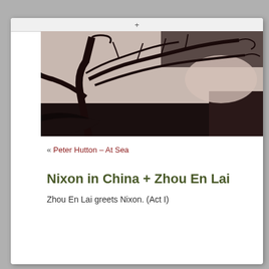+
[Figure (photo): Black and white photograph of dark tree silhouettes with twisted branches against a light sky, with a dark structure visible in the lower right.]
« Peter Hutton – At Sea
Nixon in China + Zhou En Lai
Zhou En Lai greets Nixon. (Act I)